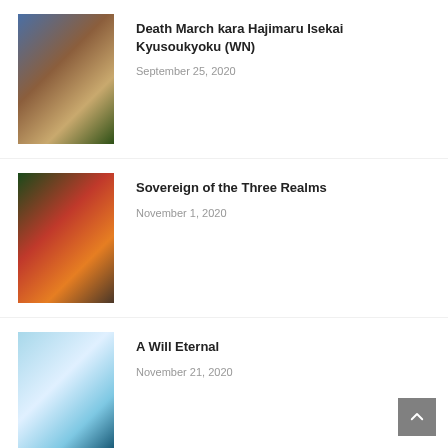Death March kara Hajimaru Isekai Kyusoukyoku (WN) — September 25, 2020
Sovereign of the Three Realms — November 1, 2020
A Will Eternal — November 21, 2020
Under the Oak Tree — September 12, 2021